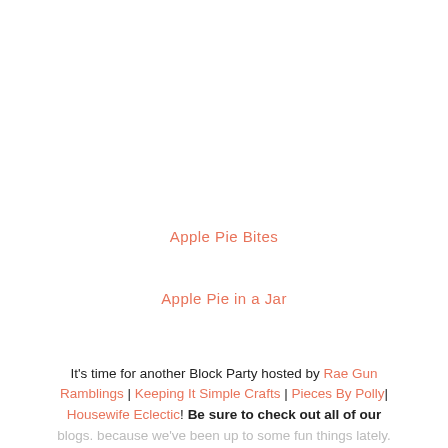Apple Pie Bites
Apple Pie in a Jar
It's time for another Block Party hosted by Rae Gun Ramblings | Keeping It Simple Crafts | Pieces By Polly| Housewife Eclectic! Be sure to check out all of our blogs. because we've been up to some fun things lately. It's Kaysi again from Keeping it Simple.